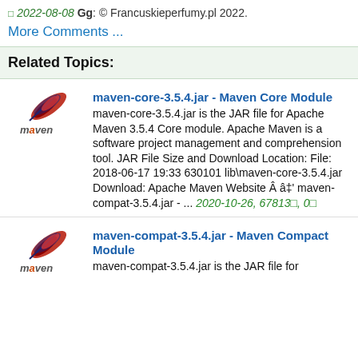□ 2022-08-08 Gg: © Francuskieperfumy.pl 2022.
More Comments ...
Related Topics:
maven-core-3.5.4.jar - Maven Core Module
maven-core-3.5.4.jar is the JAR file for Apache Maven 3.5.4 Core module. Apache Maven is a software project management and comprehension tool. JAR File Size and Download Location: File: 2018-06-17 19:33 630101 lib\maven-core-3.5.4.jar Download: Apache Maven Website Â â‡' maven-compat-3.5.4.jar - ... 2020-10-26, 67813□, 0□
maven-compat-3.5.4.jar - Maven Compact Module
maven-compat-3.5.4.jar is the JAR file for